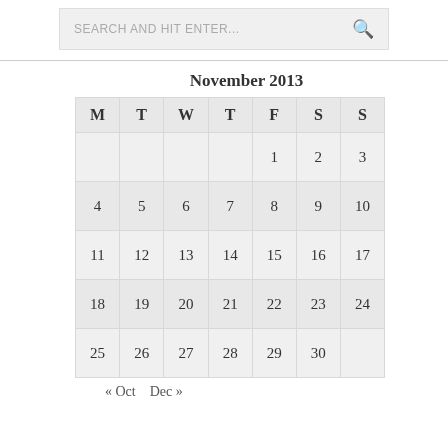SEARCH AND HIT ENTER...
| M | T | W | T | F | S | S |
| --- | --- | --- | --- | --- | --- | --- |
|  |  |  |  | 1 | 2 | 3 |
| 4 | 5 | 6 | 7 | 8 | 9 | 10 |
| 11 | 12 | 13 | 14 | 15 | 16 | 17 |
| 18 | 19 | 20 | 21 | 22 | 23 | 24 |
| 25 | 26 | 27 | 28 | 29 | 30 |  |
« Oct   Dec »